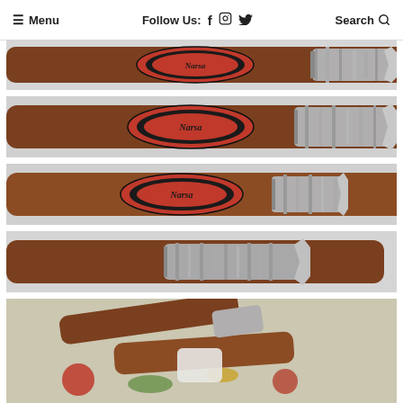Menu   Follow Us: f  □  🐦   Search 🔍
[Figure (photo): Cigar with red and black band label, with gray ash at the tip, on a light gray background. First photo in series.]
[Figure (photo): Cigar with red and black band label, with gray ash at the tip, on a light gray background. Second photo in series.]
[Figure (photo): Cigar with red and black band label, with shorter ash, on a light gray background. Third photo in series.]
[Figure (photo): Cigar without band visible, with curled gray ash, on a light gray background. Fourth photo in series.]
[Figure (photo): Partially visible photo at bottom showing multiple cigars with colorful decorations, partially cropped.]